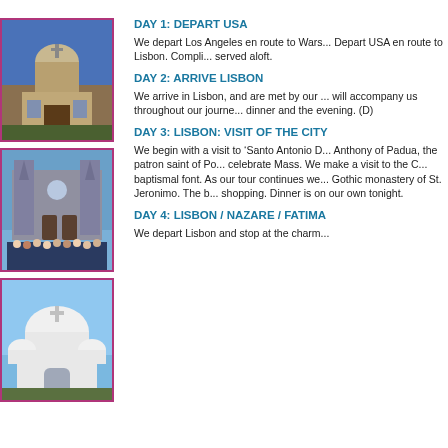[Figure (photo): Historic domed church or cathedral building with stone facade]
[Figure (photo): Group of people posing in front of a Gothic cathedral (resembling Notre-Dame de Paris)]
[Figure (photo): White domed basilica (resembling Sacré-Cœur) against blue sky]
DAY 1: DEPART USA
We depart Los Angeles en route to Wars... Depart USA en route to Lisbon. Compli... served aloft.
DAY 2: ARRIVE LISBON
We arrive in Lisbon, and are met by our ... will accompany us throughout our journe... dinner and the evening. (D)
DAY 3: LISBON: VISIT OF THE CITY
We begin with a visit to ‘Santo Antonio D... Anthony of Padua, the patron saint of Po... celebrate Mass. We make a visit to the C... baptismal font. As our tour continues we... Gothic monastery of St. Jeronimo. The b... shopping. Dinner is on our own tonight.
DAY 4: LISBON / NAZARE / FATIMA
We depart Lisbon and stop at the charm...